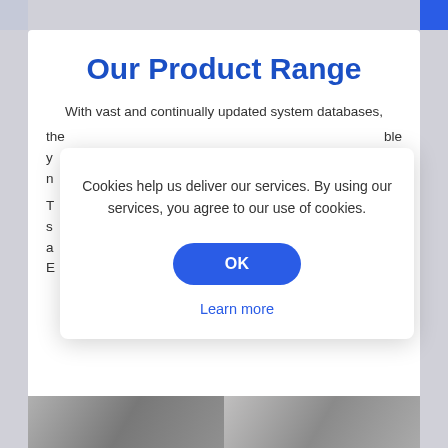Our Product Range
With vast and continually updated system databases, the ... able you ... d n ... y ... e s ... e a ... m E ... ly any vehicle model and provide you with comprehensive data for workshops.
Cookies help us deliver our services. By using our services, you agree to our use of cookies.
OK
Learn more
[Figure (photo): Two black and white photograph strips at the bottom of the page showing vehicles or workshop scenes.]